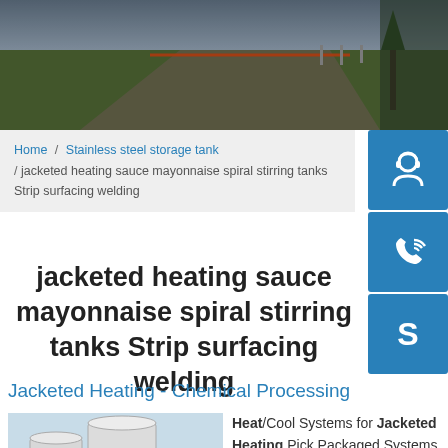[Figure (photo): Aerial/ground view of an industrial site with green grass embankments, roads, and infrastructure]
Home / Stainless steel storage tank / jacketed heating sauce mayonnaise spiral stirring tanks Strip surfacing welding
[Figure (other): Blue icon button with headset/customer service icon]
[Figure (other): Blue icon button with phone/call icon]
[Figure (other): Blue icon button with Skype icon]
jacketed heating sauce mayonnaise spiral stirring tanks Strip surfacing welding
Jacketed Heating - Chemical Processing
[Figure (photo): Two white industrial storage tanks outdoors]
Heat/Cool Systems for Jacketed Heating Pick Packaged Systems deliver